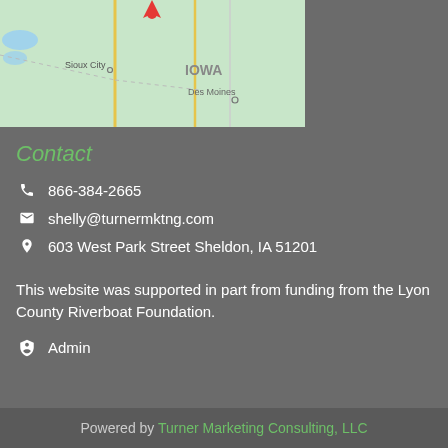[Figure (map): Partial map showing Iowa region with Sioux City and Des Moines labeled, red location pin marker visible at top, roads and state boundaries shown on light green background]
Contact
866-384-2665
shelly@turnermktng.com
603 West Park Street Sheldon, IA 51201
This website was supported in part from funding from the Lyon County Riverboat Foundation.
Admin
Powered by Turner Marketing Consulting, LLC